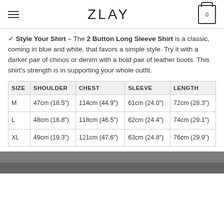ZLAY
✓ Style Your Shirt – The 2 Button Long Sleeve Shirt is a classic, coming in blue and white, that favors a simple style. Try it with a darker pair of chinos or denim with a bold pair of leather boots. This shirt's strength is in supporting your whole outfit.
| SIZE | SHOULDER | CHEST | SLEEVE | LENGTH |
| --- | --- | --- | --- | --- |
| M | 47cm (18.5") | 114cm (44.9") | 61cm (24.0") | 72cm (28.3") |
| L | 48cm (18.8") | 118cm (46.5") | 62cm (24.4") | 74cm (29.1") |
| XL | 49cm (19.3") | 121cm (47.6") | 63cm (24.8") | 76cm (29.9") |
[Figure (photo): Photo strip at bottom of page showing a shirt or model, partially visible]